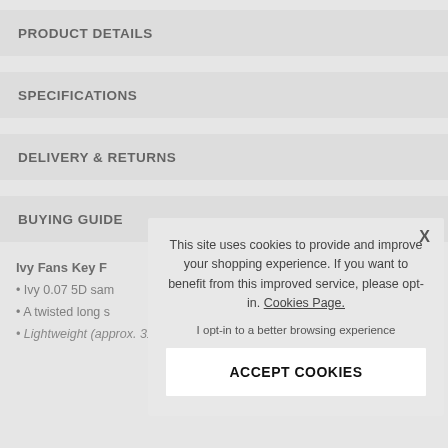PRODUCT DETAILS
SPECIFICATIONS
DELIVERY & RETURNS
BUYING GUIDE
Ivy Fans Key F
Ivy 0.07 5D sam
A twisted long s
Lightweight (approx. 31/4 of a .120 lash)
This site uses cookies to provide and improve your shopping experience. If you want to benefit from this improved service, please opt-in. Cookies Page.
I opt-in to a better browsing experience
ACCEPT COOKIES